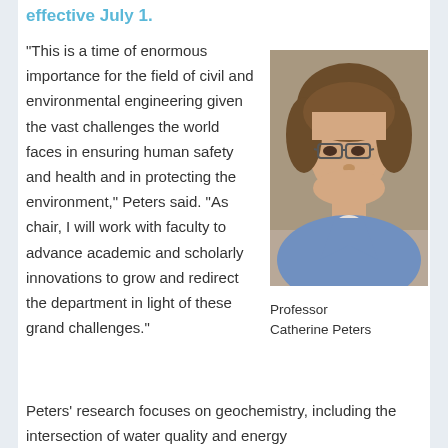effective July 1.
“This is a time of enormous importance for the field of civil and environmental engineering given the vast challenges the world faces in ensuring human safety and health and in protecting the environment,” Peters said. “As chair, I will work with faculty to advance academic and scholarly innovations to grow and redirect the department in light of these grand challenges.”
[Figure (photo): Portrait photo of Professor Catherine Peters, a woman with short brown hair wearing glasses and a light blue jacket]
Professor Catherine Peters
Peters’ research focuses on geochemistry, including the intersection of water quality and energy